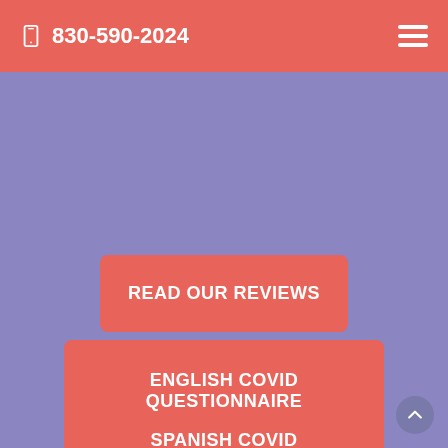830-590-2024
READ OUR REVIEWS
ENGLISH COVID QUESTIONNAIRE
SPANISH COVID QUESTIONNAIRE